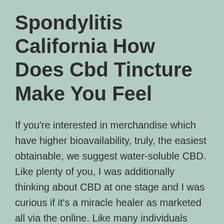Spondylitis California How Does Cbd Tincture Make You Feel
If you're interested in merchandise which have higher bioavailability, truly, the easiest obtainable, we suggest water-soluble CBD. Like plenty of you, I was additionally thinking about CBD at one stage and I was curious if it's a miracle healer as marketed all via the online. Like many individuals proper now, I too bear from anxiousness, despair, arthritis, and back ache. CBDfx makes it some extent to